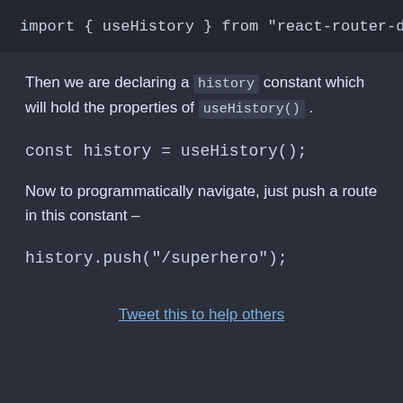import { useHistory } from "react-router-do
Then we are declaring a history constant which will hold the properties of useHistory() .
const history = useHistory();
Now to programmatically navigate, just push a route in this constant –
history.push("/superhero");
Tweet this to help others